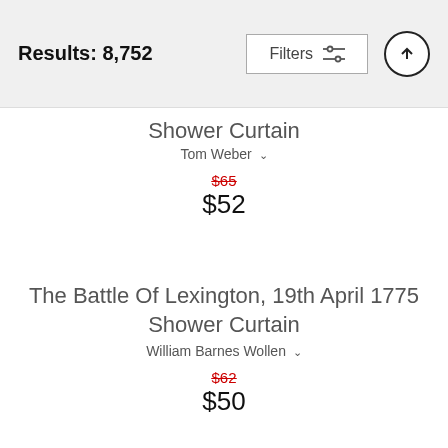Results: 8,752  Filters
Shower Curtain
Tom Weber
$65  $52
The Battle Of Lexington, 19th April 1775 Shower Curtain
William Barnes Wollen
$62  $50
He's A Fighting Fool - More Production